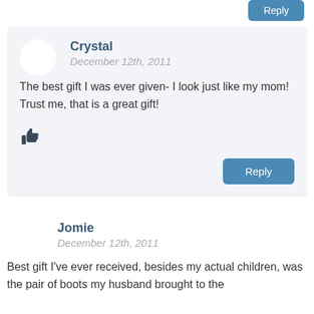[Figure (other): Partially visible Reply button at top right]
Crystal
December 12th, 2011
The best gift I was ever given- I look just like my mom! Trust me, that is a great gift!
[Figure (other): Thumbs up icon]
Reply
Jomie
December 12th, 2011
Best gift I've ever received, besides my actual children, was the pair of boots my husband brought to the